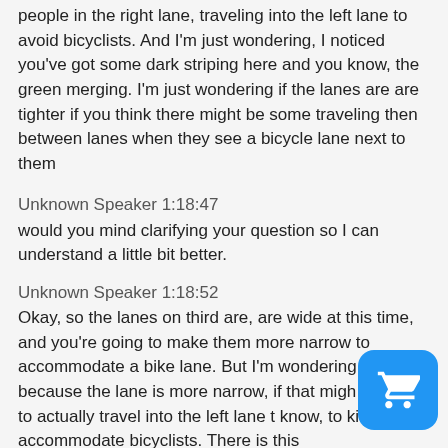people in the right lane, traveling into the left lane to avoid bicyclists. And I'm just wondering, I noticed you've got some dark striping here and you know, the green merging. I'm just wondering if the lanes are are tighter if you think there might be some traveling then between lanes when they see a bicycle lane next to them
Unknown Speaker 1:18:47
would you mind clarifying your question so I can understand a little bit better.
Unknown Speaker 1:18:52
Okay, so the lanes on third are, are wide at this time, and you're going to make them more narrow to accommodate a bike lane. But I'm wondering if because the lane is more narrow, if that might motorists to actually travel into the left lane t know, to kind of accommodate bicyclists. There is this